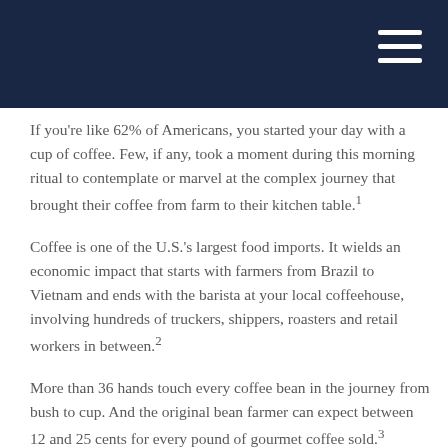If you're like 62% of Americans, you started your day with a cup of coffee. Few, if any, took a moment during this morning ritual to contemplate or marvel at the complex journey that brought their coffee from farm to their kitchen table.¹
Coffee is one of the U.S.'s largest food imports. It wields an economic impact that starts with farmers from Brazil to Vietnam and ends with the barista at your local coffeehouse, involving hundreds of truckers, shippers, roasters and retail workers in between.²
More than 36 hands touch every coffee bean in the journey from bush to cup. And the original bean farmer can expect between 12 and 25 cents for every pound of gourmet coffee sold.³
Like many agricultural enterprises, coffee is grown on large